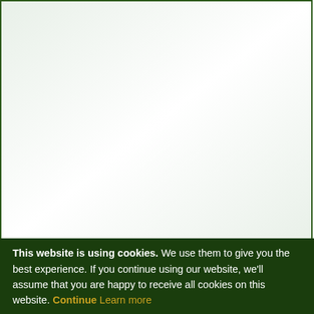[Figure (other): Top green-tinted section of a recipe website with light background]
To US Units   To Fahrenheit
Ingredient List for 4 servings:
This website is using cookies. We use them to give you the best experience. If you continue using our website, we'll assume that you are happy to receive all cookies on this website. Continue  Learn more